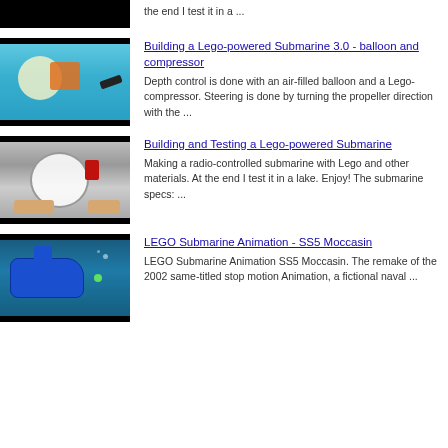[Figure (photo): Partial thumbnail of a Lego submarine, top cropped]
the end I test it in a ...
[Figure (photo): Lego-powered submarine with balloon and orange Lego parts in water]
Building a Lego-powered Submarine 3.0 - balloon and compressor
Depth control is done with an air-filled balloon and a Lego-compressor. Steering is done by turning the propeller direction with the ...
[Figure (photo): Hands holding a cylindrical Lego-powered submarine device]
Building and Testing a Lego-powered Submarine
Making a radio-controlled submarine with Lego and other materials. At the end I test it in a lake. Enjoy! The submarine specs: ...
[Figure (photo): Blue LEGO submarine animation underwater scene]
LEGO Submarine Animation - SS5 Moccasin
LEGO Submarine Animation SS5 Moccasin. The remake of the 2002 same-titled stop motion Animation, a fictional naval ...